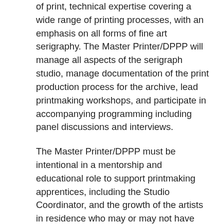of print, technical expertise covering a wide range of printing processes, with an emphasis on all forms of fine art serigraphy. The Master Printer/DPPP will manage all aspects of the serigraph studio, manage documentation of the print production process for the archive, lead printmaking workshops, and participate in accompanying programming including panel discussions and interviews.
The Master Printer/DPPP must be intentional in a mentorship and educational role to support printmaking apprentices, including the Studio Coordinator, and the growth of the artists in residence who may or may not have any printmaking experience. The Master Printer is invested in elevating the next generation of printmakers for the sustainability of the field, fostering an environment of peer-to-peer learning, and values the experience of self-taught artists practicing and learning outside of traditional educational paths.
For more information and to apply please visit the external